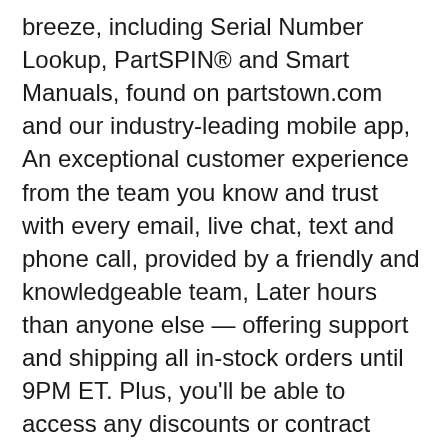breeze, including Serial Number Lookup, PartSPIN® and Smart Manuals, found on partstown.com and our industry-leading mobile app, An exceptional customer experience from the team you know and trust with every email, live chat, text and phone call, provided by a friendly and knowledgeable team, Later hours than anyone else — offering support and shipping all in-stock orders until 9PM ET. Plus, you'll be able to access any discounts or contract pricing that may be available to you. Shower Parts. All rights reserved. Compare prices & save money on Water Dispensers. Wall Mounted Drinking Fountains or Water Coolers: model number typically located on the bottom (click to view). LBWD00. Brands. Choose Parts Town for genuine OEM Elkay replacement parts. Thanks so much, have a good weekend. Some manufacturers